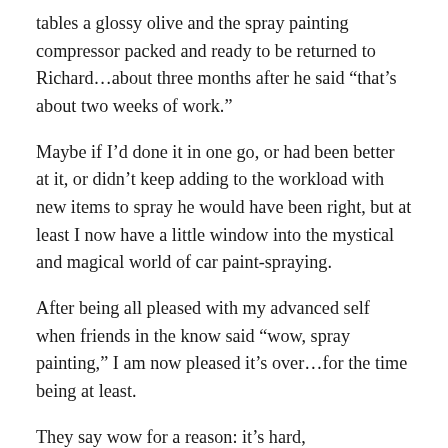tables a glossy olive and the spray painting compressor packed and ready to be returned to Richard…about three months after he said “that’s about two weeks of work.”
Maybe if I’d done it in one go, or had been better at it, or didn’t keep adding to the workload with new items to spray he would have been right, but at least I now have a little window into the mystical and magical world of car paint-spraying.
After being all pleased with my advanced self when friends in the know said “wow, spray painting,” I am now pleased it’s over…for the time being at least.
They say wow for a reason: it’s hard, unpredictable, time consuming, fiddly and messy work…and it doesn’t always come out the way you’d like first time.